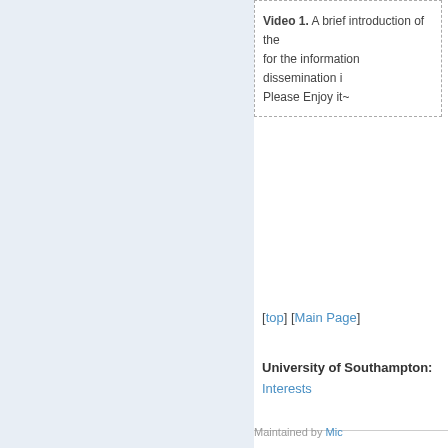Video 1. A brief introduction of the for the information dissemination i Please Enjoy it~
[top] [Main Page]
University of Southampton: Interests
Maintained by Mic